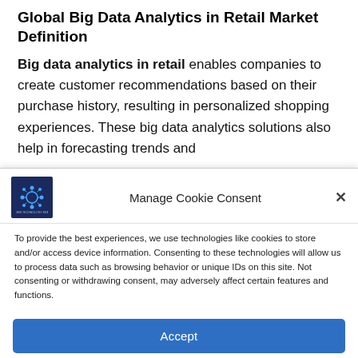Global Big Data Analytics in Retail Market Definition
Big data analytics in retail enables companies to create customer recommendations based on their purchase history, resulting in personalized shopping experiences. These big data analytics solutions also help in forecasting trends and
[Figure (logo): New Technology Era logo — dark blue square with a circuit/network icon and small text]
Manage Cookie Consent
To provide the best experiences, we use technologies like cookies to store and/or access device information. Consenting to these technologies will allow us to process data such as browsing behavior or unique IDs on this site. Not consenting or withdrawing consent, may adversely affect certain features and functions.
Accept